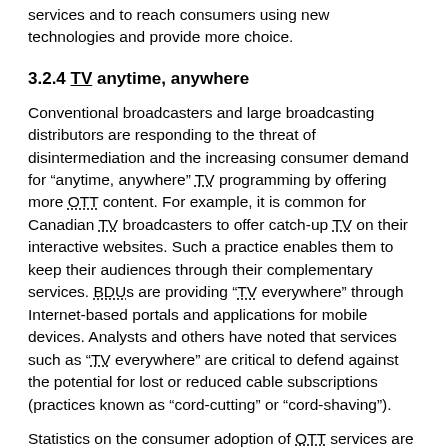services and to reach consumers using new technologies and provide more choice.
3.2.4 TV anytime, anywhere
Conventional broadcasters and large broadcasting distributors are responding to the threat of disintermediation and the increasing consumer demand for “anytime, anywhere” TV programming by offering more OTT content. For example, it is common for Canadian TV broadcasters to offer catch-up TV on their interactive websites. Such a practice enables them to keep their audiences through their complementary services. BDUs are providing “TV everywhere” through Internet-based portals and applications for mobile devices. Analysts and others have noted that services such as “TV everywhere” are critical to defend against the potential for lost or reduced cable subscriptions (practices known as “cord-cutting” or “cord-shaving”).
Statistics on the consumer adoption of OTT services are